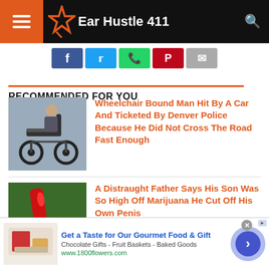Ear Hustle 411
[Figure (screenshot): Social sharing buttons: Facebook, Twitter, WhatsApp, Pinterest, Email]
RECOMMENDED FOR YOU
[Figure (photo): Wheelchair photo]
Wheelchair Bound Man Hit By A Car And Ticketed By Denver Police Because He Did Not Cross The Road Fast Enough
[Figure (photo): Red knife photo]
A Distraught Father Says His Son Was So High Off Marijuana He Cut Off His Own Penis
[Figure (screenshot): Ad: Get a Taste for Our Gourmet Food & Gift - Chocolate Gifts - Fruit Baskets - Baked Goods - www.1800flowers.com]